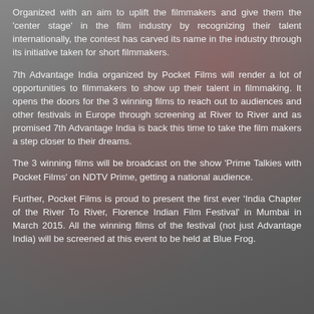Organized with an aim to uplift the filmmakers and give them the 'center stage' in the film industry by recognizing their talent internationally, the contest has carved its name in the industry through its initiative taken for short filmmakers.
7th Advantage India organized by Pocket Films will render a lot of opportunities to filmmakers to show up their talent in filmmaking. It opens the doors for the 3 winning films to reach out to audiences and other festivals in Europe through screening at River to River and as promised 7th Advantage India is back this time to take the film makers a step closer to their dreams.
The 3 winning films will be broadcast on the show 'Prime Talkies with Pocket Films' on NDTV Prime, getting a national audience.
Further, Pocket Films is proud to present the first ever 'India Chapter of the River To River, Florence Indian Film Festival' in Mumbai in March 2015. All the winning films of the festival (not just Advantage India) will be screened at this event to be held at Blue Frog.